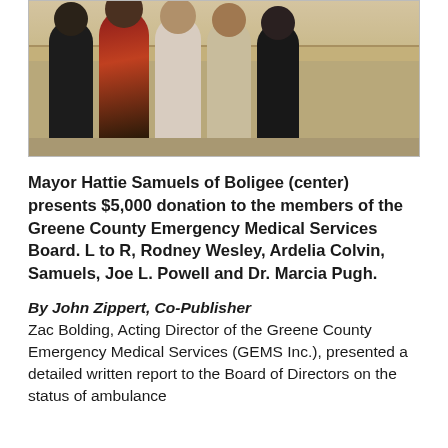[Figure (photo): Group photo of five people standing in front of a wooden counter/desk in what appears to be a meeting room. The individuals are identified as Rodney Wesley, Ardelia Colvin, Mayor Hattie Samuels (center), Joe L. Powell, and Dr. Marcia Pugh.]
Mayor Hattie Samuels of Boligee (center) presents $5,000 donation to the members of the Greene County Emergency Medical Services Board. L to R, Rodney Wesley, Ardelia Colvin, Samuels, Joe L. Powell and Dr. Marcia Pugh.
By John Zippert, Co-Publisher
Zac Bolding, Acting Director of the Greene County Emergency Medical Services (GEMS Inc.), presented a detailed written report to the Board of Directors on the status of ambulance